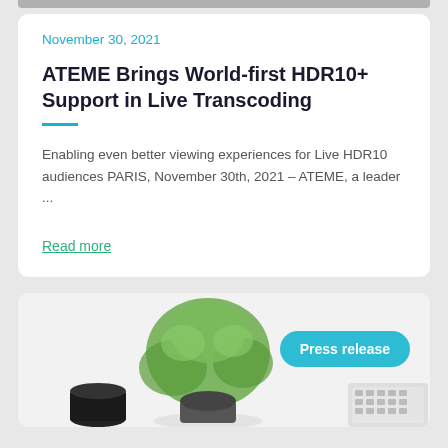November 30, 2021
ATEME Brings World-first HDR10+ Support in Live Transcoding
Enabling even better viewing experiences for Live HDR10 audiences PARIS, November 30th, 2021 – ATEME, a leader ...
Read more
[Figure (photo): Bottom card showing a plant and keyboard on white desk with a teal 'Press release' badge]